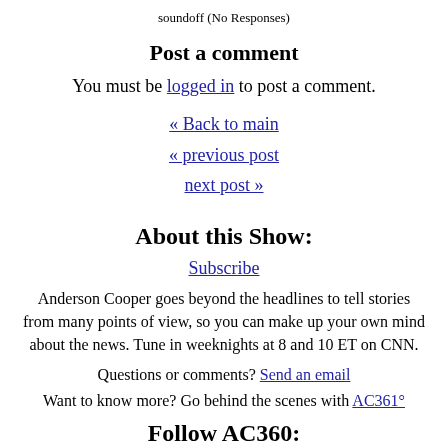soundoff (No Responses)
Post a comment
You must be logged in to post a comment.
« Back to main
« previous post
next post »
About this Show:
Subscribe
Anderson Cooper goes beyond the headlines to tell stories from many points of view, so you can make up your own mind about the news. Tune in weeknights at 8 and 10 ET on CNN.
Questions or comments? Send an email
Want to know more? Go behind the scenes with AC361°
Follow AC360: